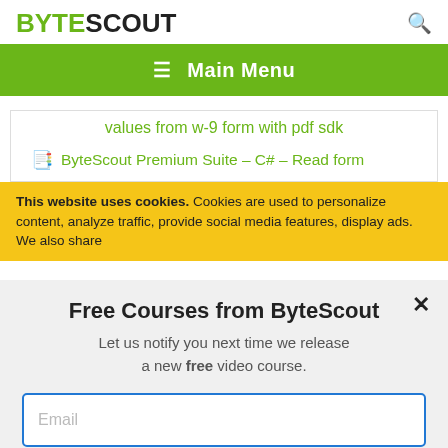BYTESCOUT
☰ Main Menu
values from w-9 form with pdf sdk
📗 ByteScout Premium Suite – C# – Read form
This website uses cookies. Cookies are used to personalize content, analyze traffic, provide social media features, display ads. We also share
Free Courses from ByteScout
Let us notify you next time we release a new free video course.
Email
SUBSCRIBE